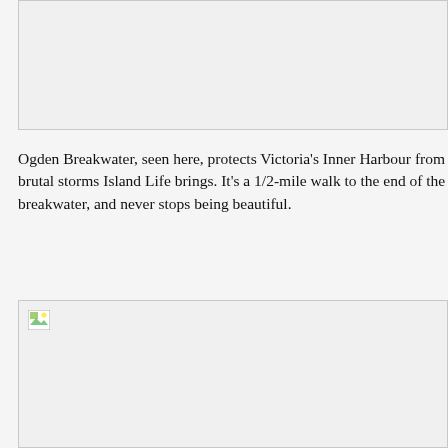[Figure (photo): Top image placeholder — photo of Ogden Breakwater (not loaded)]
Ogden Breakwater, seen here, protects Victoria's Inner Harbour from brutal storms Island Life brings. It's a 1/2-mile walk to the end of the breakwater, and never stops being beautiful.
[Figure (photo): Bottom image placeholder — second photo (not loaded)]